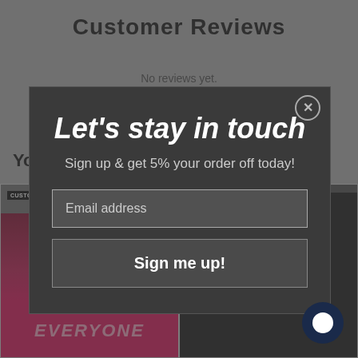Customer Reviews
No reviews yet.
Write a review
You may also like
[Figure (screenshot): Background page showing customer reviews section and product cards with t-shirts]
Let's stay in touch
Sign up & get 5% your order off today!
Email address
Sign me up!